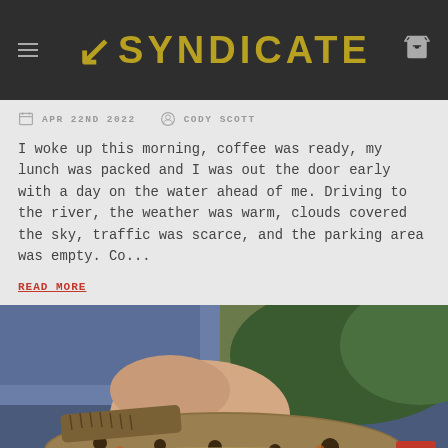SYNDICATE
APR 22ND 2022   CODY SCOTT
I woke up this morning, coffee was ready, my lunch was packed and I was out the door early with a day on the water ahead of me. Driving to the river, the weather was warm, clouds covered the sky, traffic was scarce, and the parking area was empty. Co...
READ MORE
[Figure (photo): Close-up photo of a person's hand holding a spotted brown trout fish near a river]